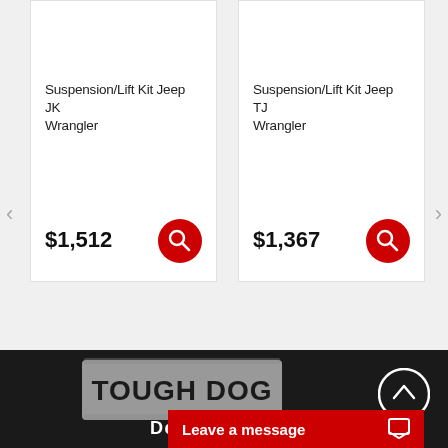Suspension/Lift Kit Jeep JK Wrangler
$1,512
Suspension/Lift Kit Jeep TJ Wrangler
$1,367
[Figure (logo): Tough Dog Dealer logo on dark background]
Leave a message